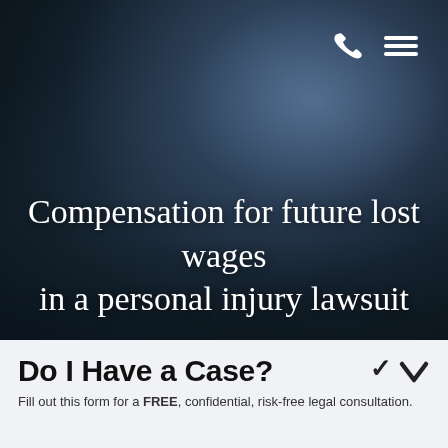[Figure (photo): Dark textured background (dark blue-grey stone/concrete) with navigation icons (phone and hamburger menu) in upper right corner, serving as hero banner background.]
Compensation for future lost wages in a personal injury lawsuit
Do I Have a Case?
Fill out this form for a FREE, confidential, risk-free legal consultation.